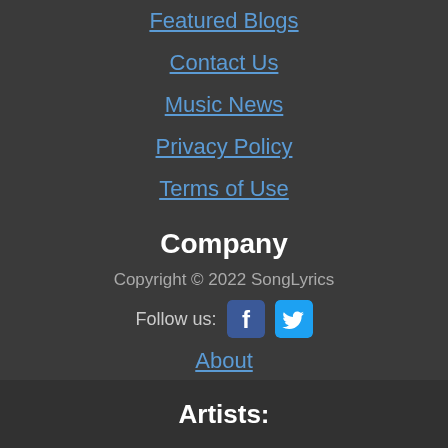Featured Blogs
Contact Us
Music News
Privacy Policy
Terms of Use
Company
Copyright © 2022 SongLyrics
Follow us:
About
[Figure (logo): SoundMedia logo with headphone icon and text 'soundmedia' in white and blue]
Artists: